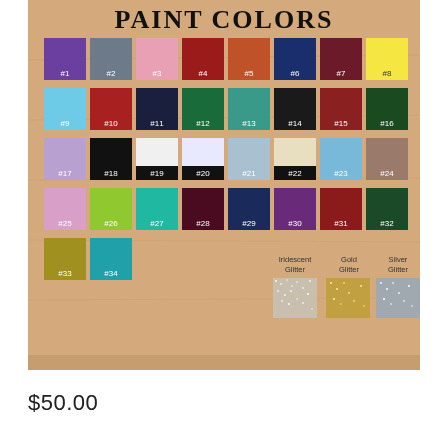[Figure (infographic): A wooden paint color swatch board showing 34 numbered colored squares in rows, plus three glitter swatches (Iridescent Glitter, Gold Glitter, Silver Glitter) in the bottom right. The board has 'PAINT COLORS' printed at the top in large bold serif letters.]
$50.00